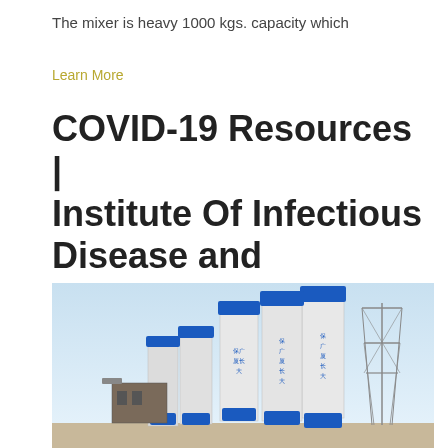The mixer is heavy 1000 kgs. capacity which
Learn More
COVID-19 Resources | Institute Of Infectious Disease and
[Figure (photo): Industrial cement mixing plant with multiple tall blue and white cylindrical silos and a steel transmission tower, set against a light blue sky.]